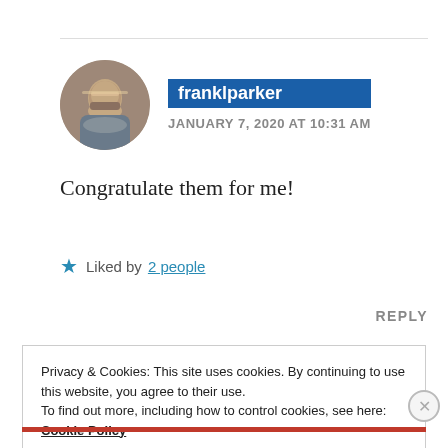[Figure (photo): Circular avatar photo of a bearded middle-aged man with glasses]
franklparker
JANUARY 7, 2020 AT 10:31 AM
Congratulate them for me!
★ Liked by 2 people
REPLY
Privacy & Cookies: This site uses cookies. By continuing to use this website, you agree to their use.
To find out more, including how to control cookies, see here:
Cookie Policy
Close and accept